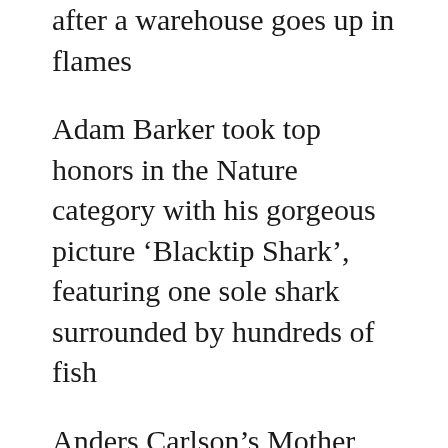after a warehouse goes up in flames
Adam Barker took top honors in the Nature category with his gorgeous picture ‘Blacktip Shark’, featuring one sole shark surrounded by hundreds of fish
Anders Carlson’s Mother and Calf, featuring two gorgeous whales, was highly commended in the Wildlife category
Bachir Moukarzel captured whale